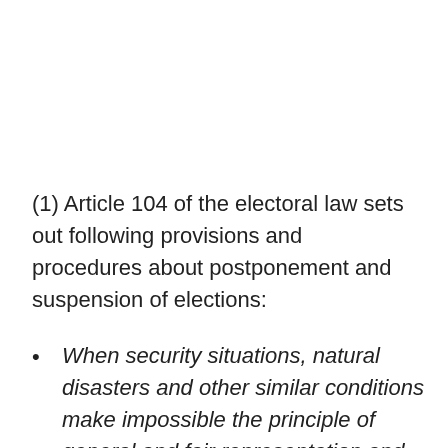(1) Article 104 of the electoral law sets out following provisions and procedures about postponement and suspension of elections:
When security situations, natural disasters and other similar conditions make impossible the principle of general and fair representation and undermine the credibility of the electoral process if elections are held;